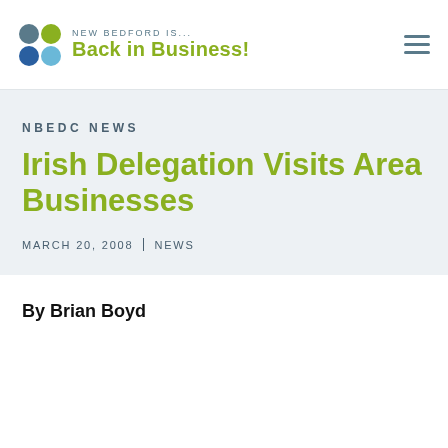[Figure (logo): New Bedford Is... Back in Business! logo with four colored circles (teal, green, blue, light blue) arranged in a 2x2 grid]
NEW BEDFORD IS... Back in Business!
NBEDC NEWS
Irish Delegation Visits Area Businesses
MARCH 20, 2008 | NEWS
By Brian Boyd